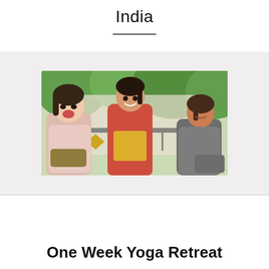India
[Figure (photo): Three women sitting together outdoors on a balcony or porch, laughing and examining fabric or crafts. Lush green trees visible in the background. One woman on left in light pink top, one in center wearing red top, one on right in gray top.]
One Week Yoga Retreat